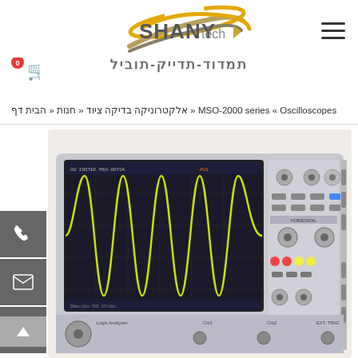[Figure (logo): ShanyTech logo with swoosh graphic and Hebrew tagline תמדוד-תדייק-תוביל]
דף הבית « חנות « ציוד בדיקה אלקטרוניקה « Oscilloscopes « MSO-2000 series
[Figure (photo): GW Instek MSO-2000 series oscilloscope showing waveform display and front panel controls]